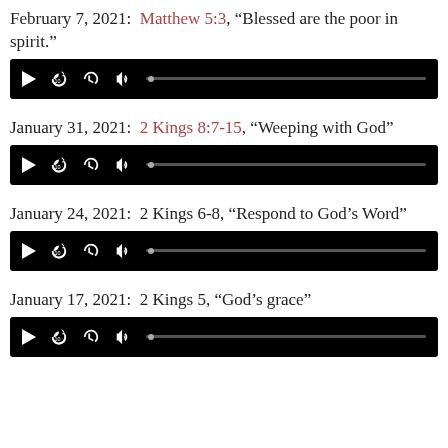February 7, 2021: Matthew 5:3, “Blessed are the poor in spirit.”
[Figure (other): Audio player with play, replay, volume, and delete controls and a progress bar]
January 31, 2021: 2 Kings 8:7-15, “Weeping with God”
[Figure (other): Audio player with play, replay, volume, and delete controls and a progress bar]
January 24, 2021: 2 Kings 6-8, “Respond to God’s Word”
[Figure (other): Audio player with play, replay, volume, and delete controls and a progress bar]
January 17, 2021: 2 Kings 5, “God’s grace”
[Figure (other): Audio player with play, replay, volume, and delete controls and a progress bar]